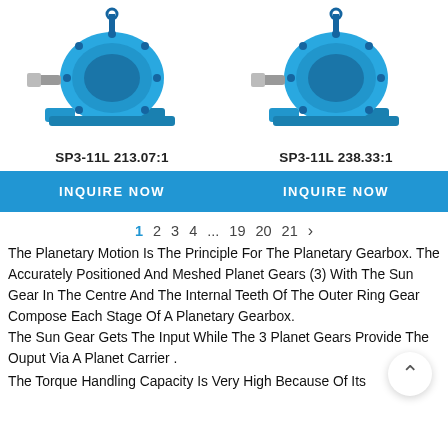[Figure (photo): Blue planetary gearbox SP3-11L 213.07:1, industrial gear reducer unit]
[Figure (photo): Blue planetary gearbox SP3-11L 238.33:1, industrial gear reducer unit]
SP3-11L 213.07:1
SP3-11L 238.33:1
INQUIRE NOW
INQUIRE NOW
1  2  3  4  ...  19  20  21  >
The Planetary Motion Is The Principle For The Planetary Gearbox. The Accurately Positioned And Meshed Planet Gears (3) With The Sun Gear In The Centre And The Internal Teeth Of The Outer Ring Gear Compose Each Stage Of A Planetary Gearbox.
The Sun Gear Gets The Input While The 3 Planet Gears Provide The Ouput Via A Planet Carrier .
The Torque Handling Capacity Is Very High Because Of Its